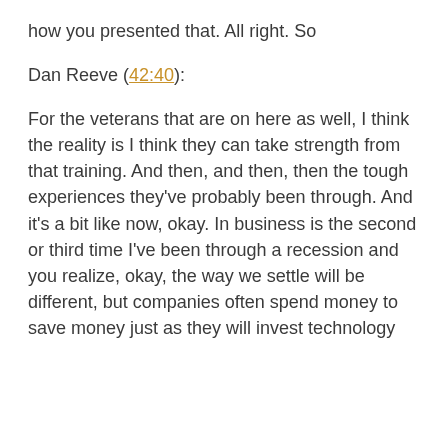how you presented that. All right. So
Dan Reeve (42:40):
For the veterans that are on here as well, I think the reality is I think they can take strength from that training. And then, and then, then the tough experiences they've probably been through. And it's a bit like now, okay. In business is the second or third time I've been through a recession and you realize, okay, the way we settle will be different, but companies often spend money to save money just as they will invest technology